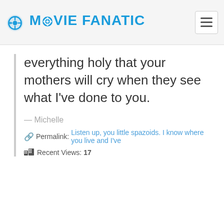MOVIE FANATIC
everything holy that your mothers will cry when they see what I've done to you.
— Michelle
Permalink: Listen up, you little spazoids. I know where you live and I've
Recent Views: 17